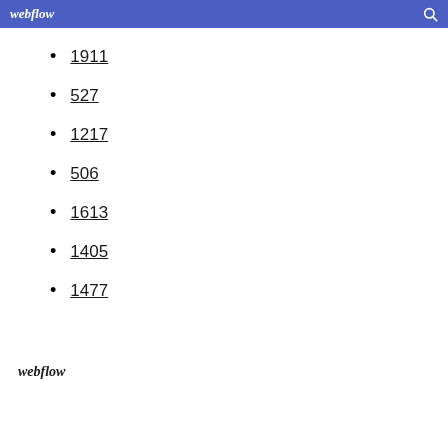webflow
1911
527
1217
506
1613
1405
1477
webflow